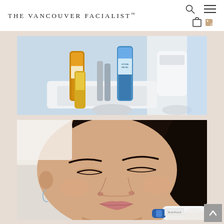THE VANCOUVER FACIALIST™
[Figure (photo): Close-up of HydraFacial skincare product serums in a white tray — amber, yellow, and blue vials in a chrome holder with white machine in background]
[Figure (photo): Woman lying down with eyes closed receiving a HydraFacial treatment — a blue and white handheld device is applied near her cheek/chin area]